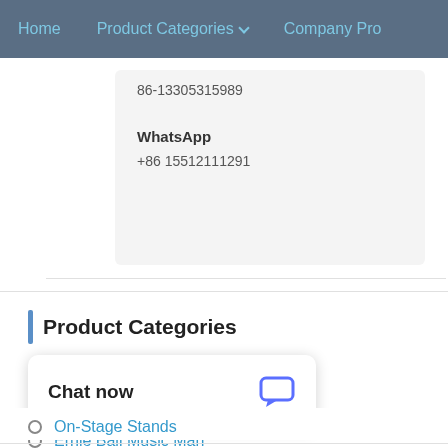Home   Product Categories   Company Pro
86-13305315989
WhatsApp
+86 15512111291
Product Categories
Charvel
Bugera
Ernie Ball Music Man
Chat now
On-Stage Stands